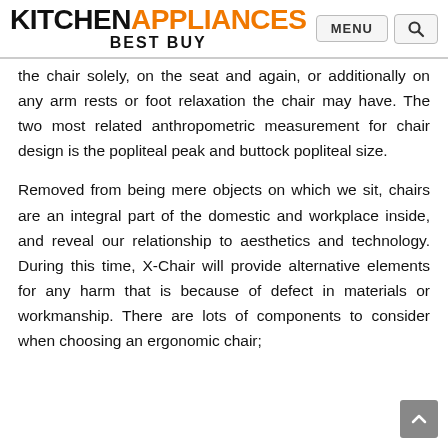KITCHEN APPLIANCES BEST BUY
the chair solely, on the seat and again, or additionally on any arm rests or foot relaxation the chair may have. The two most related anthropometric measurement for chair design is the popliteal peak and buttock popliteal size.
Removed from being mere objects on which we sit, chairs are an integral part of the domestic and workplace inside, and reveal our relationship to aesthetics and technology. During this time, X-Chair will provide alternative elements for any harm that is because of defect in materials or workmanship. There are lots of components to consider when choosing an ergonomic chair;